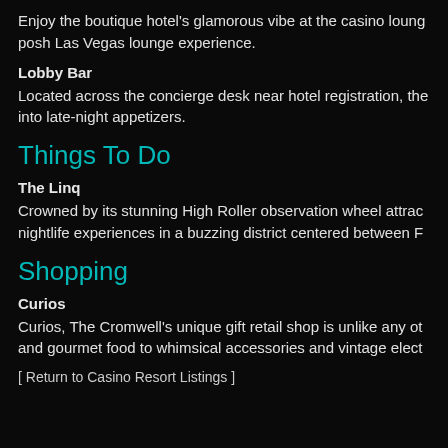Enjoy the boutique hotel's glamorous vibe at the casino lounge posh Las Vegas lounge experience.
Lobby Bar
Located across the concierge desk near hotel registration, the into late-night appetizers.
Things To Do
The Linq
Crowned by its stunning High Roller observation wheel attrac nightlife experiences in a buzzing district centered between F
Shopping
Curios
Curios, The Cromwell's unique gift retail shop is unlike any ot and gourmet food to whimsical accessories and vintage elect
[ Return to Casino Resort Listings ]